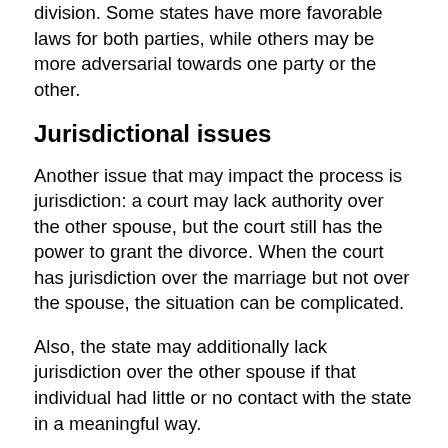division. Some states have more favorable laws for both parties, while others may be more adversarial towards one party or the other.
Jurisdictional issues
Another issue that may impact the process is jurisdiction: a court may lack authority over the other spouse, but the court still has the power to grant the divorce. When the court has jurisdiction over the marriage but not over the spouse, the situation can be complicated.
Also, the state may additionally lack jurisdiction over the other spouse if that individual had little or no contact with the state in a meaningful way.
Additionally, when it comes to the issue